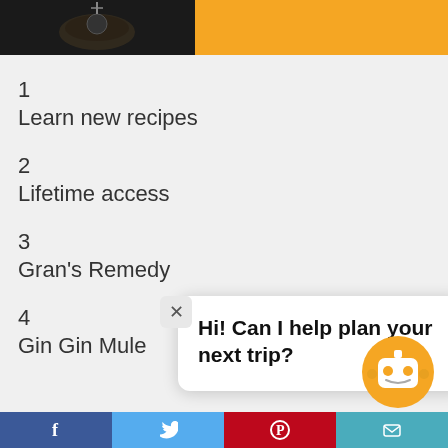[Figure (photo): Top banner with photo of bowl/cooking on left and orange color block on right]
1
Learn new recipes
2
Lifetime access
3
Gran's Remedy
4
Gin Gin Mule
Hi! Can I help plan your next trip?
[Figure (illustration): Chatbot robot face icon in orange circle]
[Figure (screenshot): Bottom social sharing bar with Facebook, Twitter, Pinterest, and email icons]